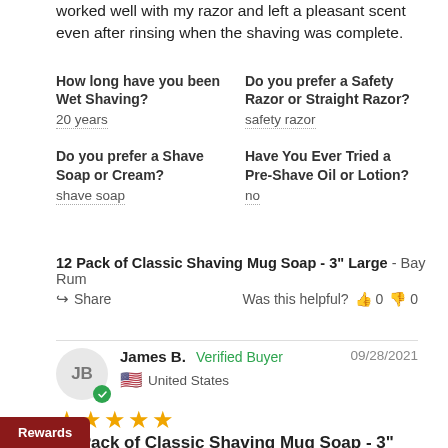worked well with my razor and left a pleasant scent even after rinsing when the shaving was complete.
How long have you been Wet Shaving? 20 years
Do you prefer a Safety Razor or Straight Razor? safety razor
Do you prefer a Shave Soap or Cream? shave soap
Have You Ever Tried a Pre-Shave Oil or Lotion? no
12 Pack of Classic Shaving Mug Soap - 3" Large - Bay Rum
Share   Was this helpful? 0  0
James B.  Verified Buyer   09/28/2021   United States
★★★★★
12 Pack of Classic Shaving Mug Soap - 3" Large
I love the shaving lather it makes.